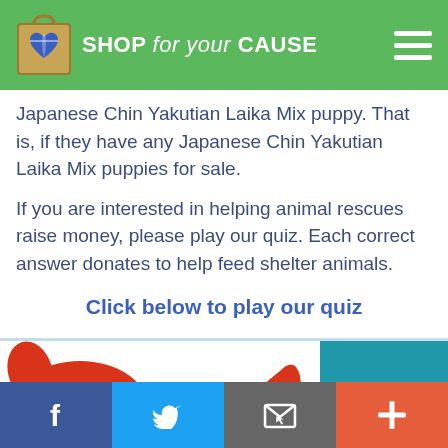SHOP for your CAUSE
Japanese Chin Yakutian Laika Mix puppy. That is, if they have any Japanese Chin Yakutian Laika Mix puppies for sale.
If you are interested in helping animal rescues raise money, please play our quiz. Each correct answer donates to help feed shelter animals.
Click below to play our quiz
[Figure (screenshot): Quiz widget showing a cartoon red dog (Clifford-like) with a score box showing 'Zero']
Social share bar with Facebook, Twitter, Email, and Plus buttons